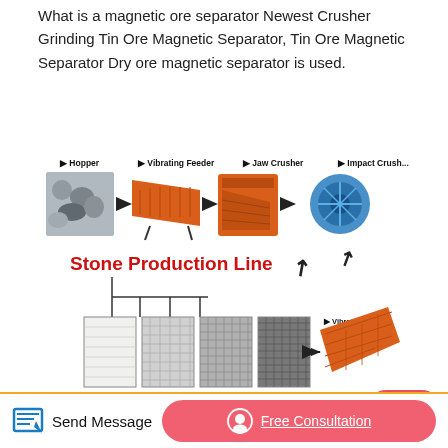What is a magnetic ore separator Newest Crusher Grinding Tin Ore Magnetic Separator, Tin Ore Magnetic Separator Dry ore magnetic separator is used.
[Figure (flowchart): Stone Production Line flowchart showing: Hopper → Vibrating Feeder → Jaw Crusher → Impact Crusher (top row), then processed material sizes 0-5mm, 5-10mm, 10-20mm, 20-30mm ← Vibrating Screen (bottom row). Title 'Stone Production Line' in red bold text.]
Magnetic Separator_grinding Mill Stone Crusher Machine
Magnetic Separator,Shanghai XSM is a professional ore crusher equipment,Magnetic Separator, mechanical beneficiation equipment, ore milling equipment manufacturers Ore mining
Send Message | Free Consultation